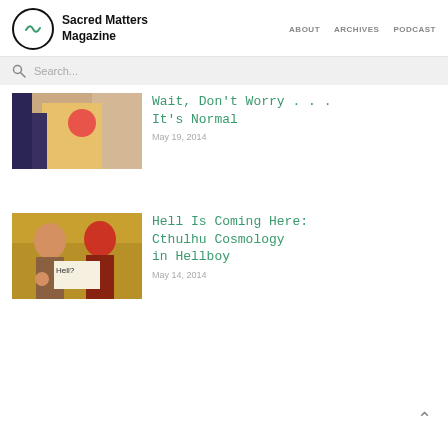Sacred Matters Magazine — ABOUT  ARCHIVES  PODCAST
Search...
[Figure (photo): Partially visible article thumbnail showing colorful costume with rose]
Wait, Don't Worry . . . It's Normal
May 19, 2014
[Figure (photo): Two figurines — one bald and one red-faced holding a sign saying 'Hell?' — Hellboy themed image]
Hell Is Coming Here: Cthulhu Cosmology in Hellboy
May 14, 2014